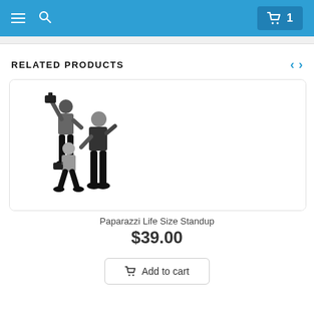Navigation bar with hamburger menu, search icon, and cart button showing 1 item
RELATED PRODUCTS
[Figure (illustration): Illustration of three paparazzi photographers holding cameras, depicted in flat style silhouette figures in black and grey]
Paparazzi Life Size Standup
$39.00
Add to cart